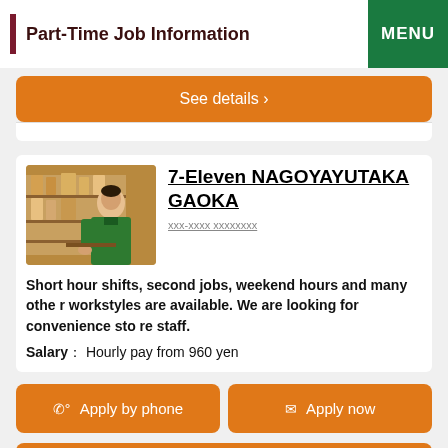Part-Time Job Information
See details ›
[Figure (photo): Man in green uniform working at a convenience store]
7-Eleven NAGOYAYUTAKA GAOKA
xxx-xxxx xxxxxxxx
Short hour shifts, second jobs, weekend hours and many other workstyles are available. We are looking for convenience store staff.
Salary：Hourly pay from 960 yen
Apply by phone
Apply now
See details ›